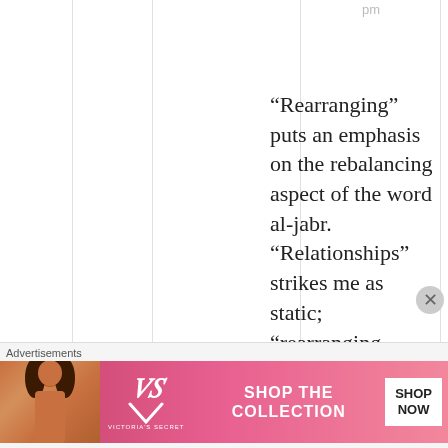pm
“Rearranging” puts an emphasis on the rebalancing aspect of the word al-jabr. “Relationships” strikes me as static; “rearranging
Advertisements
[Figure (photo): Victoria's Secret advertisement banner showing a model, VS logo, 'SHOP THE COLLECTION' text, and a 'SHOP NOW' button on a pink gradient background.]